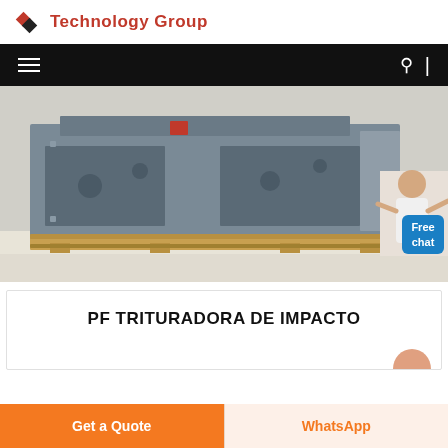Technology Group
[Figure (photo): Large industrial impact crusher machine (PF series) painted grey, sitting on wooden pallets in a warehouse or factory floor. A customer service representative figure is visible in the lower right corner.]
PF TRITURADORA DE IMPACTO
Get a Quote
WhatsApp